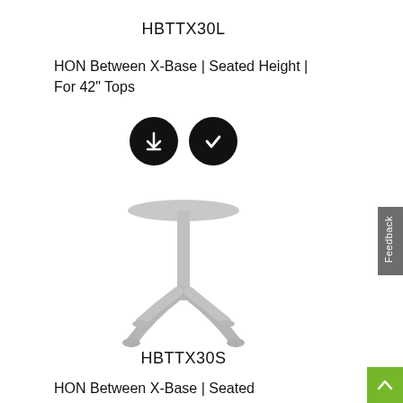HBTTX30L
HON Between X-Base | Seated Height | For 42" Tops
[Figure (illustration): Two black circular buttons: one with a download arrow icon, one with a checkmark icon]
[Figure (illustration): Gray pedestal table base with X-shaped foot and cylindrical post with a round top plate]
HBTTX30S
HON Between X-Base | Seated